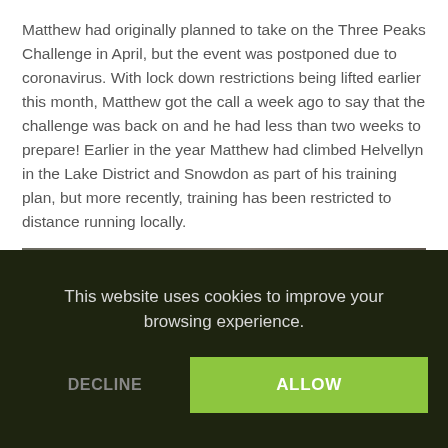Matthew had originally planned to take on the Three Peaks Challenge in April, but the event was postponed due to coronavirus. With lock down restrictions being lifted earlier this month, Matthew got the call a week ago to say that the challenge was back on and he had less than two weeks to prepare! Earlier in the year Matthew had climbed Helvellyn in the Lake District and Snowdon as part of his training plan, but more recently, training has been restricted to distance running locally.
[Figure (photo): Dark photo showing mechanical components, pipes, and engine parts viewed from below or inside an engine bay.]
This website uses cookies to improve your browsing experience.
DECLINE
ALLOW